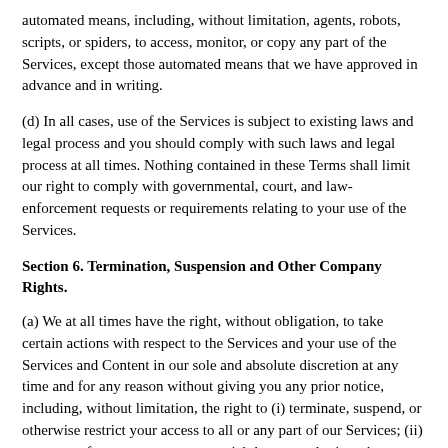automated means, including, without limitation, agents, robots, scripts, or spiders, to access, monitor, or copy any part of the Services, except those automated means that we have approved in advance and in writing.
(d) In all cases, use of the Services is subject to existing laws and legal process and you should comply with such laws and legal process at all times. Nothing contained in these Terms shall limit our right to comply with governmental, court, and law-enforcement requests or requirements relating to your use of the Services.
Section 6. Termination, Suspension and Other Company Rights.
(a) We at all times have the right, without obligation, to take certain actions with respect to the Services and your use of the Services and Content in our sole and absolute discretion at any time and for any reason without giving you any prior notice, including, without limitation, the right to (i) terminate, suspend, or otherwise restrict your access to all or any part of our Services; (ii) remove, refuse, or move any material that you submit to the Services for any reason; (iii) remove, refuse, or move any Content that is available on or through the Services; and (iv) establish general practices and limits concerning use of the Services and Content.